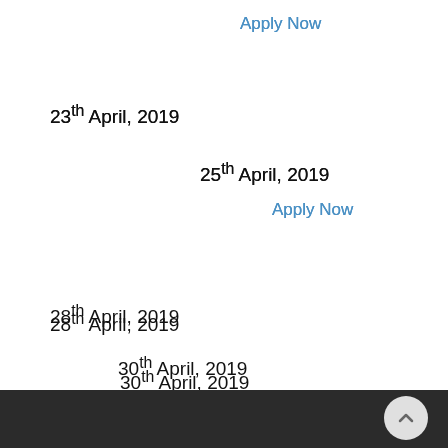Apply Now
23th April, 2019
25th April, 2019
Apply Now
28th April, 2019
30th April, 2019
Apply Now
This 3 Days Himalayan Yoga & Meditation Retreat is held every month throughout the year, but we always welcome the aspirants to apply for any dates in any month in advance.